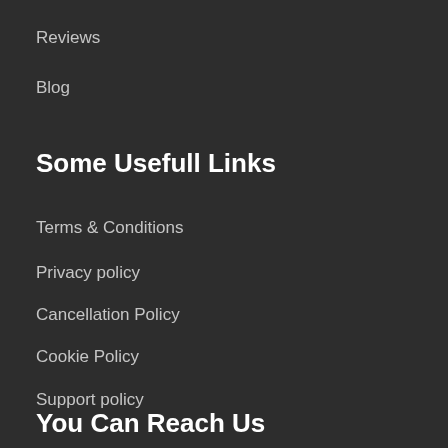Reviews
Blog
Some Usefull Links
Terms & Conditions
Privacy policy
Cancellation Policy
Cookie Policy
Support policy
You Can Reach Us